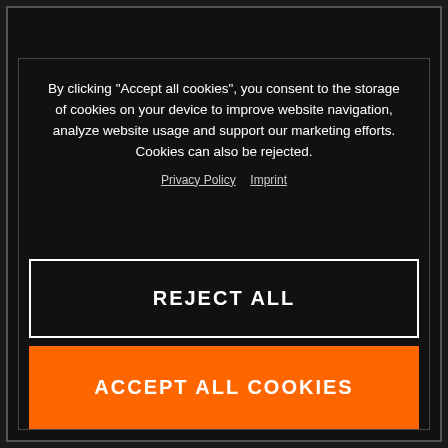By clicking “Accept all cookies”, you consent to the storage of cookies on your device to improve website navigation, analyze website usage and support our marketing efforts. Cookies can also be rejected.
Privacy Policy  Imprint
THE COMPANY
KTM WORLD
SERVICE
REJECT ALL
ACCEPT ALL COOKIES